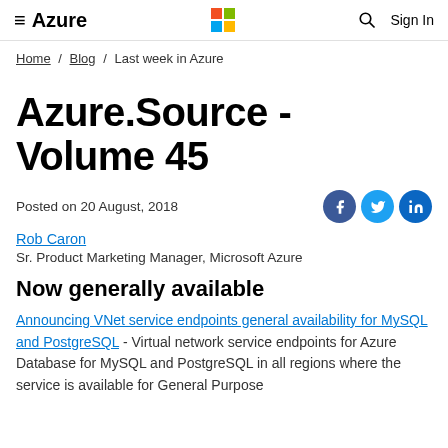≡  Azure    [Microsoft Logo]    🔍    Sign In
Home / Blog / Last week in Azure
Azure.Source - Volume 45
Posted on 20 August, 2018
Rob Caron
Sr. Product Marketing Manager, Microsoft Azure
Now generally available
Announcing VNet service endpoints general availability for MySQL and PostgreSQL - Virtual network service endpoints for Azure Database for MySQL and PostgreSQL in all regions where the service is available for General Purpose